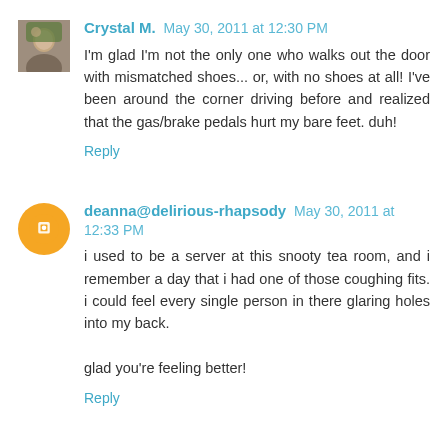Crystal M. May 30, 2011 at 12:30 PM
I'm glad I'm not the only one who walks out the door with mismatched shoes... or, with no shoes at all! I've been around the corner driving before and realized that the gas/brake pedals hurt my bare feet. duh!
Reply
deanna@delirious-rhapsody May 30, 2011 at 12:33 PM
i used to be a server at this snooty tea room, and i remember a day that i had one of those coughing fits. i could feel every single person in there glaring holes into my back.

glad you're feeling better!
Reply
Jacci May 30, 2011 at 1:38 PM